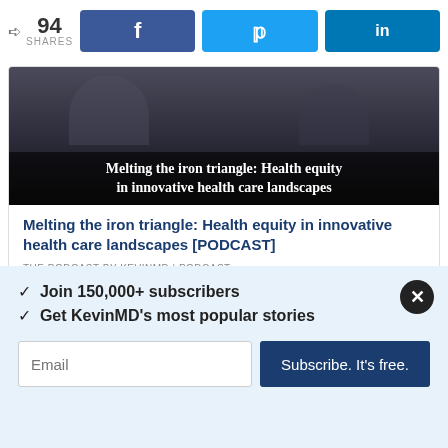94 SHARES | Facebook | Twitter | LinkedIn
[Figure (screenshot): Video thumbnail showing two people in a dark setting, with overlay text: Melting the iron triangle: Health equity in innovative health care landscapes]
Melting the iron triangle: Health equity in innovative health care landscapes [PODCAST]
THE PODCAST BY KEVINMD | PODCAST
Subscribe to KevinMD and never miss a
✓  Join 150,000+ subscribers
✓  Get KevinMD's most popular stories
Email | Subscribe. It's free.